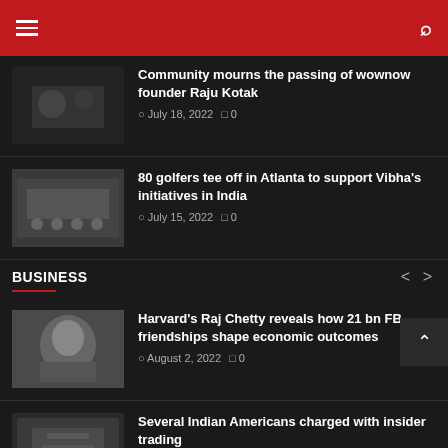Navigation header with hamburger menu and search icon
Community mourns the passing of wownow founder Raju Kotak
July 18, 2022  0
80 golfers tee off in Atlanta to support Vibha's initiatives in India
July 15, 2022  0
BUSINESS
Harvard's Raj Chetty reveals how 21 bn FB friendships shape economic outcomes
August 2, 2022  0
Several Indian Americans charged with insider trading